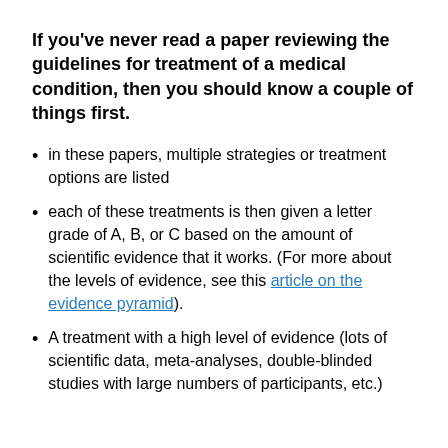If you've never read a paper reviewing the guidelines for treatment of a medical condition, then you should know a couple of things first.
in these papers, multiple strategies or treatment options are listed
each of these treatments is then given a letter grade of A, B, or C based on the amount of scientific evidence that it works. (For more about the levels of evidence, see this article on the evidence pyramid).
A treatment with a high level of evidence (lots of scientific data, meta-analyses, double-blinded studies with large numbers of participants, etc.)